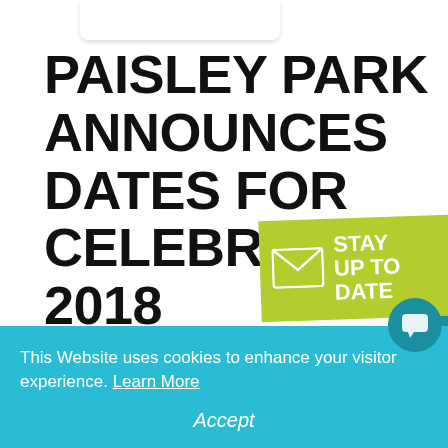PAISLEY PARK ANNOUNCES DATES FOR CELEBRATION 2018
[Figure (infographic): Green badge with envelope icon and text STAY UP TO DATE]
Chanhassen, MN. (June 1, 2017) – Prince's Paisley Park in Chanhassen, Minnesota is
This Website uses cookies to enhance your visitor experience. Learn More
Accept